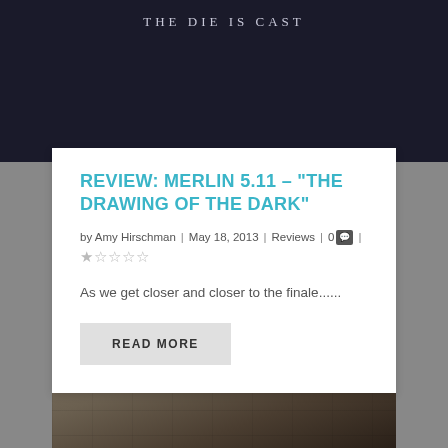[Figure (photo): Dark movie poster with text 'THE DIE IS CAST' in spaced serif letters on a dark atmospheric background]
REVIEW: MERLIN 5.11 – "THE DRAWING OF THE DARK"
by Amy Hirschman | May 18, 2013 | Reviews | 0 💬 | ★★★★★
As we get closer and closer to the finale......
READ MORE
[Figure (photo): Photograph of a middle-aged woman with dark hair and a dark headscarf, wearing dark clothing, standing in front of a stone wall background]